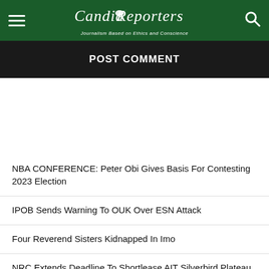Candid Reporters — Journalism Based on Ethics and Conscience
POST COMMENT
NBA CONFERENCE: Peter Obi Gives Basis For Contesting 2023 Election
IPOB Sends Warning To OUK Over ESN Attack
Four Reverend Sisters Kidnapped In Imo
NRC Extends Deadline To Shortlease AIT Silverbird Plateau E...